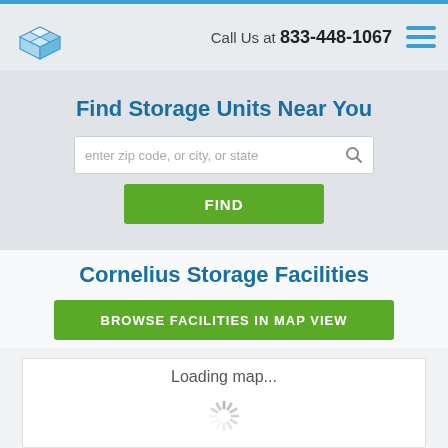Call Us at 833-448-1067
Find Storage Units Near You
enter zip code, or city, or state
FIND
Cornelius Storage Facilities
BROWSE FACILITIES IN MAP VIEW
[Figure (other): Loading map placeholder with spinner animation]